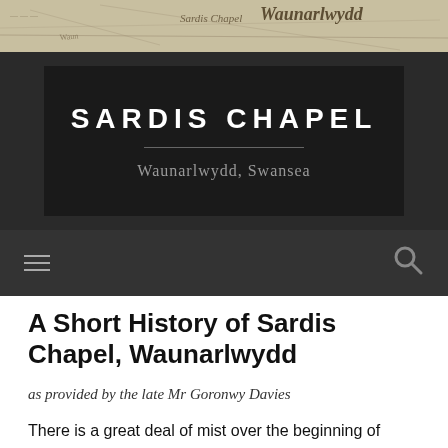[Figure (map): Vintage map background showing Waunarlwydd area with 'Sardis Chapel' and 'Waunarlwydd' text visible]
SARDIS CHAPEL
Waunarlwydd, Swansea
[Figure (other): Dark navigation bar with hamburger menu icon on left and search icon on right]
A Short History of Sardis Chapel, Waunarlwydd
as provided by the late Mr Goronwy Davies
There is a great deal of mist over the beginning of Sardis' history, as like many churches, no records